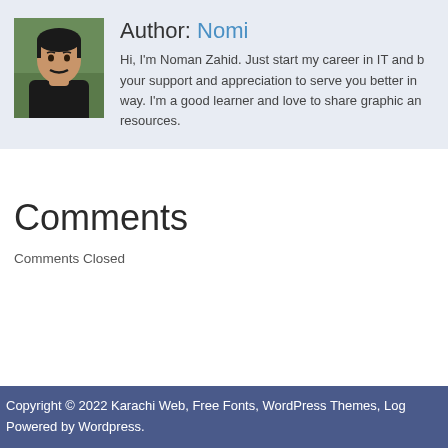[Figure (photo): Portrait photo of a young man with a mustache wearing a black shirt, outdoors with green background]
Author: Nomi
Hi, I'm Noman Zahid. Just start my career in IT and b your support and appreciation to serve you better in way. I'm a good learner and love to share graphic an resources.
Comments
Comments Closed
Copyright © 2022 Karachi Web, Free Fonts, WordPress Themes, Log Powered by Wordpress.